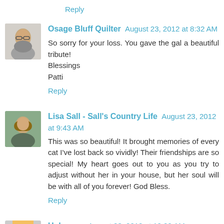Reply
Osage Bluff Quilter August 23, 2012 at 8:32 AM
So sorry for your loss. You gave the gal a beautiful tribute! Blessings
Patti
Reply
Lisa Sall - Sall's Country Life August 23, 2012 at 9:43 AM
This was so beautiful! It brought memories of every cat I've lost back so vividly! Their friendships are so special! My heart goes out to you as you try to adjust without her in your house, but her soul will be with all of you forever! God Bless.
Reply
Unknown August 23, 2012 at 10:29 AM